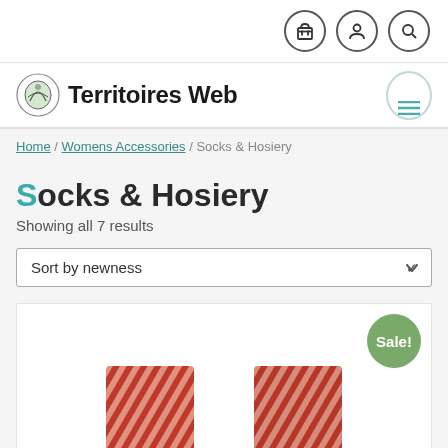Territoires Web — top navigation with cart, user, search icons
Socks & Hosiery
Showing all 7 results
Home / Womens Accessories / Socks & Hosiery
Sort by newness
[Figure (photo): Product listing photo of red socks, partially visible at bottom of page, with a Sale! badge in green circle.]